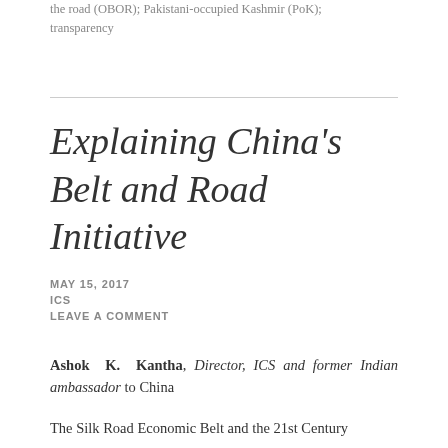the road (OBOR); Pakistani-occupied Kashmir (PoK); transparency
Explaining China's Belt and Road Initiative
MAY 15, 2017
ICS
LEAVE A COMMENT
Ashok K. Kantha, Director, ICS and former Indian ambassador to China
The Silk Road Economic Belt and the 21st Century